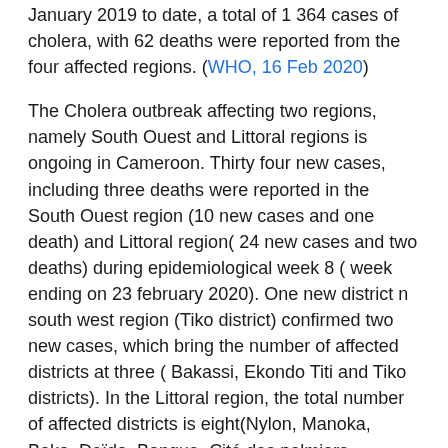January 2019 to date, a total of 1 364 cases of cholera, with 62 deaths were reported from the four affected regions. (WHO, 16 Feb 2020)
The Cholera outbreak affecting two regions, namely South Ouest and Littoral regions is ongoing in Cameroon. Thirty four new cases, including three deaths were reported in the South Ouest region (10 new cases and one death) and Littoral region( 24 new cases and two deaths) during epidemiological week 8 ( week ending on 23 february 2020). One new district n south west region (Tiko district) confirmed two new cases, which bring the number of affected districts at three ( Bakassi, Ekondo Titi and Tiko districts). In the Littoral region, the total number of affected districts is eight(Nylon, Manoka, Boko, Deïdo, Bangue, Cité des palmiers, Bonassama, Japoma, New Bell et Logbada districts).(WHO, 8 Mar 2020)
The cholera outbreak that began in Cameroon on 18 May 2018 is showing signs of decline, with only the Coastal